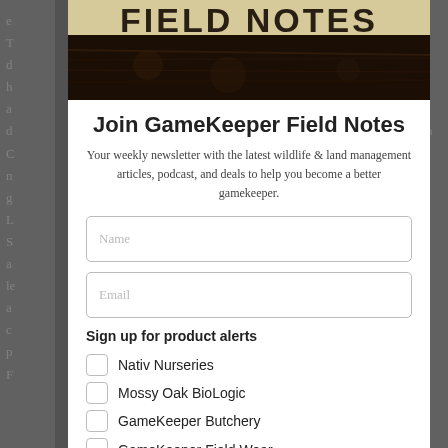[Figure (photo): GameKeeper Field Notes banner/logo image showing rustic wooden sign with text FIELD NOTES burned into dark wood]
Join GameKeeper Field Notes
Your weekly newsletter with the latest wildlife & land management articles, podcast, and deals to help you become a better gamekeeper.
Name (input field)
Email (input field)
Sign up for product alerts
Nativ Nurseries
Mossy Oak BioLogic
GameKeeper Butchery
GameKeeper Field Wear